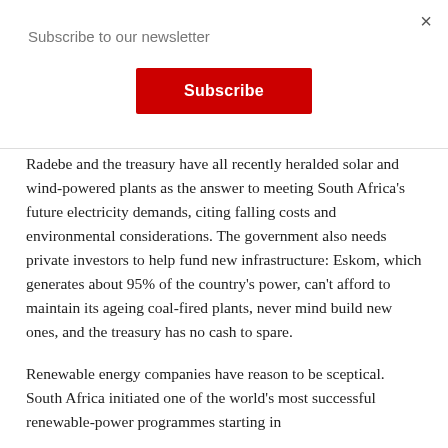× Subscribe to our newsletter
Subscribe
Radebe and the treasury have all recently heralded solar and wind-powered plants as the answer to meeting South Africa's future electricity demands, citing falling costs and environmental considerations. The government also needs private investors to help fund new infrastructure: Eskom, which generates about 95% of the country's power, can't afford to maintain its ageing coal-fired plants, never mind build new ones, and the treasury has no cash to spare.
Renewable energy companies have reason to be sceptical. South Africa initiated one of the world's most successful renewable-power programmes starting in